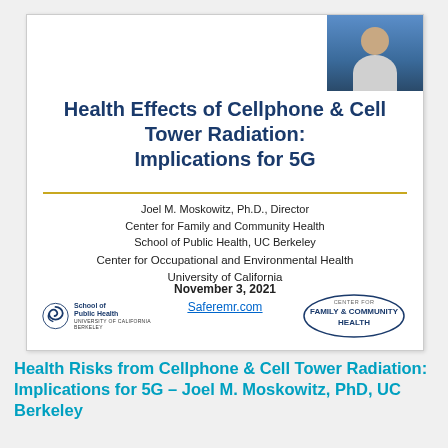[Figure (screenshot): A presentation slide screenshot showing title 'Health Effects of Cellphone & Cell Tower Radiation: Implications for 5G' by Joel M. Moskowitz, PhD, with UC Berkeley and Center for Family and Community Health logos. A speaker thumbnail is visible in the top right corner.]
Health Risks from Cellphone & Cell Tower Radiation: Implications for 5G – Joel M. Moskowitz, PhD, UC Berkeley